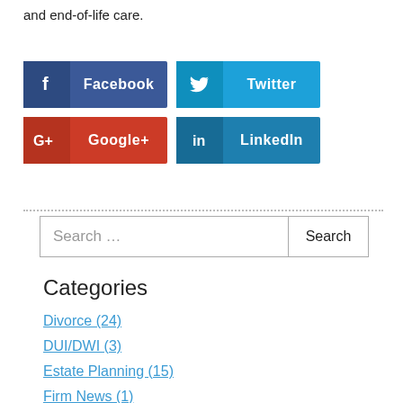and end-of-life care.
[Figure (infographic): Social media share buttons: Facebook (dark blue), Twitter (light blue), Google+ (red), LinkedIn (teal blue)]
[Figure (screenshot): Search bar with placeholder text 'Search ...' and a Search button]
Categories
Divorce (24)
DUI/DWI (3)
Estate Planning (15)
Firm News (1)